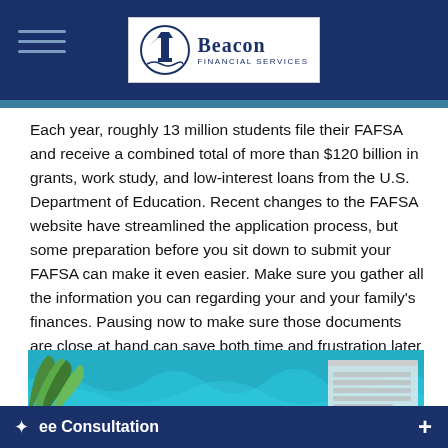Beacon Financial Services
Each year, roughly 13 million students file their FAFSA and receive a combined total of more than $120 billion in grants, work study, and low-interest loans from the U.S. Department of Education. Recent changes to the FAFSA website have streamlined the application process, but some preparation before you sit down to submit your FAFSA can make it even easier. Make sure you gather all the information you can regarding your and your family's finances. Pausing now to make sure those documents are close at hand can save both time and frustration later on.²
[Figure (photo): Photo of green tropical leaves and a keyboard on a teal/turquoise background]
ee Consultation +